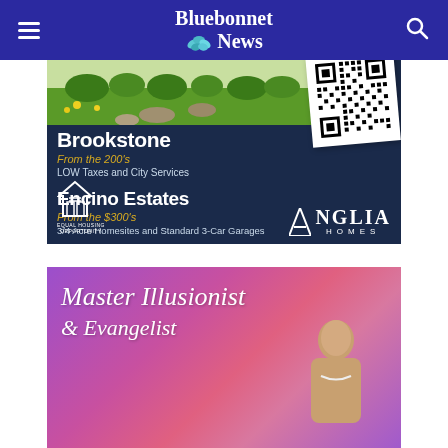Bluebonnet News
[Figure (infographic): Anglia Homes real estate advertisement on dark navy background featuring Brookstone subdivision (From the 200's, LOW Taxes and City Services) and Encino Estates (From the $300's, 3/4 Acre Homesites and Standard 3-Car Garages), with QR code in upper right, equal housing logo bottom left, and Anglia Homes logo bottom right.]
[Figure (photo): Master Illusionist and Evangelist advertisement with purple-pink gradient background showing script text and a person.]